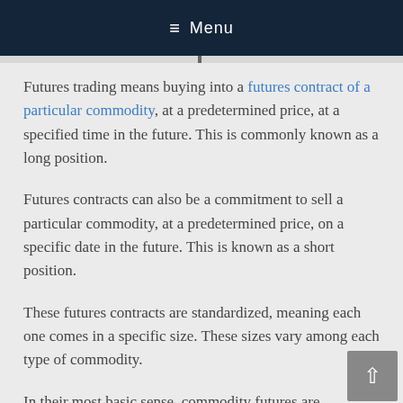≡ Menu
Futures trading means buying into a futures contract of a particular commodity, at a predetermined price, at a specified time in the future. This is commonly known as a long position.
Futures contracts can also be a commitment to sell a particular commodity, at a predetermined price, on a specific date in the future. This is known as a short position.
These futures contracts are standardized, meaning each one comes in a specific size. These sizes vary among each type of commodity.
In their most basic sense, commodity futures are